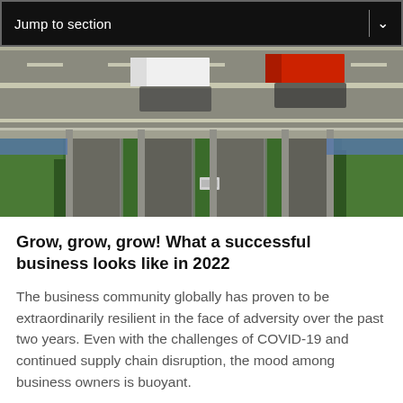Jump to section
[Figure (photo): Aerial view of highway interchange with trucks, green vegetation visible below the overpass]
Grow, grow, grow! What a successful business looks like in 2022
The business community globally has proven to be extraordinarily resilient in the face of adversity over the past two years. Even with the challenges of COVID-19 and continued supply chain disruption, the mood among business owners is buoyant.